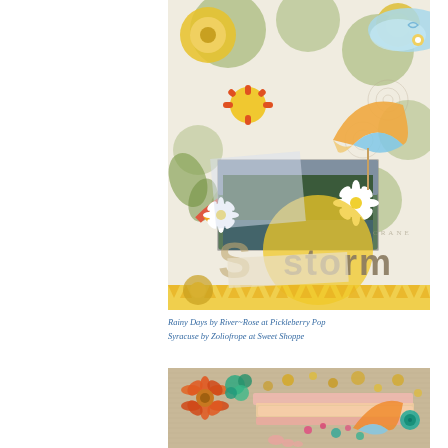[Figure (illustration): Colorful scrapbook layout featuring floral and nature elements, a rainbow, umbrella, daisy flowers, and the word 'storm' overlaid on a decorative background with green circle patterns and yellow flowers. A landscape photo of trees is embedded in the center.]
Rainy Days by River~Rose at Pickleberry Pop
Syracuse by Zoliofrope at Sweet Shoppe
[Figure (illustration): Colorful scrapbook layout with orange and green flowers, pink and pastel colored papers, gold glitter dots, a rainbow umbrella element, teal button flowers, and scattered embellishments on a tan/beige background.]